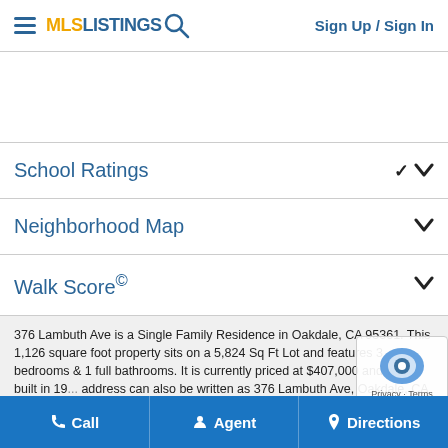MLSListings Sign Up / Sign In
School Ratings
Neighborhood Map
Walk Score©
376 Lambuth Ave is a Single Family Residence in Oakdale, CA 95361. This 1,126 square foot property sits on a 5,824 Sq Ft Lot and features 3 bedrooms & 1 full bathrooms. It is currently priced at $407,000 and was built in 19... address can also be written as 376 Lambuth Ave, Oakdale, CA 95361
Call  Agent  Directions